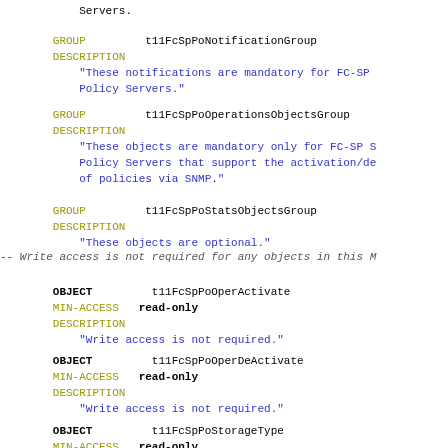Servers.
GROUP      t11FcSpPoNotificationGroup
DESCRIPTION
    "These notifications are mandatory for FC-SP
    Policy Servers."
GROUP      t11FcSpPoOperationsObjectsGroup
DESCRIPTION
    "These objects are mandatory only for FC-SP S
    Policy Servers that support the activation/de
    of policies via SNMP."
GROUP      t11FcSpPoStatsObjectsGroup
DESCRIPTION
    "These objects are optional."
-- Write access is not required for any objects in this M
OBJECT      t11FcSpPoOperActivate
MIN-ACCESS  read-only
DESCRIPTION
    "Write access is not required."
OBJECT      t11FcSpPoOperDeActivate
MIN-ACCESS  read-only
DESCRIPTION
    "Write access is not required."
OBJECT      t11FcSpPoStorageType
MIN-ACCESS  read-only